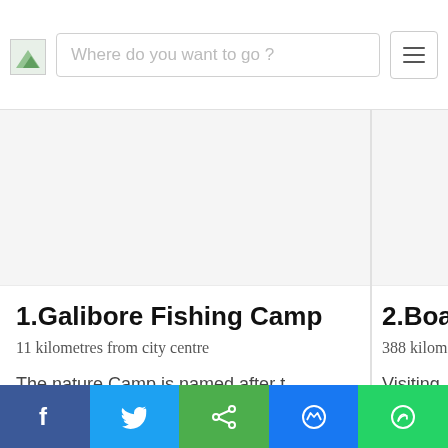Where do you want to go ?
[Figure (photo): Image area for Galibore Fishing Camp listing (blank/loading)]
1.Galibore Fishing Camp
11 kilometres from city centre
The nature Camp is named after the hillock Galibore that stands behind it and is surrou...
[Figure (photo): Image area for second listing (Boat) partially visible]
2.Boat
388 kilom
Visiting complet iver and
Social share bar: Facebook, Twitter, Share, Messenger, WhatsApp